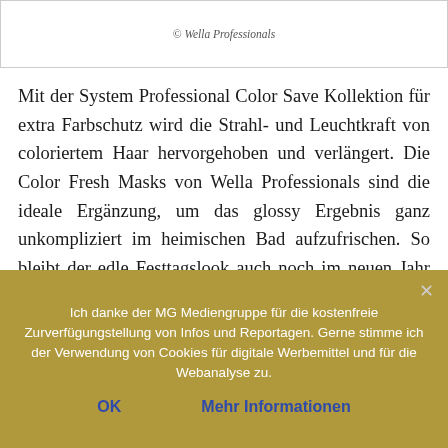© Wella Professionals
Mit der System Professional Color Save Kollektion für extra Farbschutz wird die Strahl- und Leuchtkraft von coloriertem Haar hervorgehoben und verlängert. Die Color Fresh Masks von Wella Professionals sind die ideale Ergänzung, um das glossy Ergebnis ganz unkompliziert im heimischen Bad aufzufrischen. So bleibt der edle Festtagslook auch noch im neuen Jahr erhalten.
Ich danke der MG Mediengruppe für die kostenfreie Zurverfügungstellung von Infos und Reportagen. Gerne stimme ich der Verwendung von Cookies für digitale Werbemittel und für die Webanalyse zu.
OK
Mehr Informationen